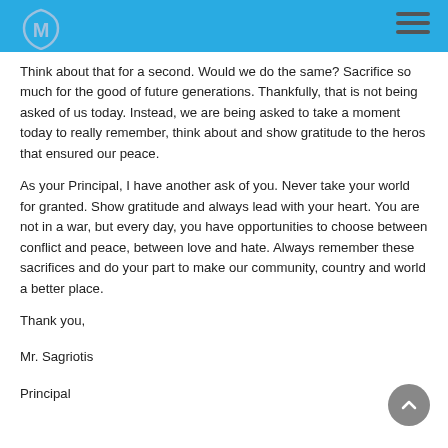Think about that for a second.  Would we do the same?  Sacrifice so much for the good of future generations.  Thankfully, that is not being asked of us today.  Instead, we are being asked to take a moment today to really remember, think about and show gratitude to the heros that ensured our peace.
As your Principal, I have another ask of you.  Never take your world for granted.  Show gratitude and always lead with your heart.  You are not in a war, but every day, you have opportunities to choose between conflict and peace, between love and hate.  Always remember these sacrifices and do your part to make our community, country and world a better place.
Thank you,
Mr. Sagriotis
Principal